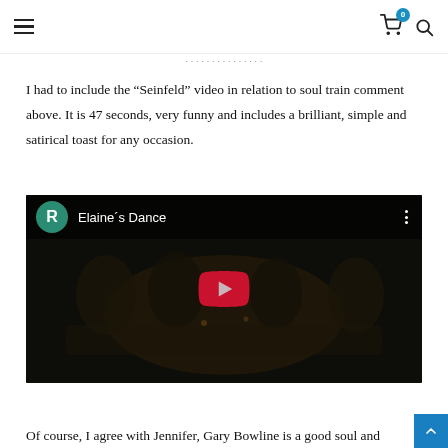≡ [cart 0] [search]
I had to include the “Seinfeld” video in relation to soul train comment above. It is 47 seconds, very funny and includes a brilliant, simple and satirical toast for any occasion.
[Figure (screenshot): YouTube video embed showing 'Elaine's Dance' with a dark scene of people at a dinner table, a red YouTube play button in the center, a teal avatar with letter R and video title in the top bar, and three-dot menu icon.]
Of course, I agree with Jennifer, Gary Bowline is a good soul and